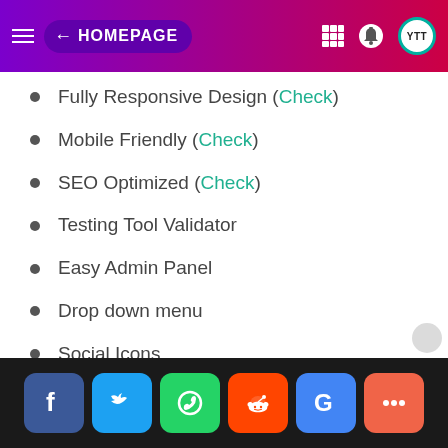HOMEPAGE
Fully Responsive Design (Check)
Mobile Friendly (Check)
SEO Optimized (Check)
Testing Tool Validator
Easy Admin Panel
Drop down menu
Social Icons
Ads Ready
Adsense Ready by AMP
Breadcrumbs
Related Posts
Facebook Twitter WhatsApp Reddit Google More